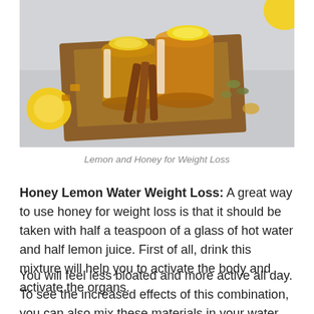[Figure (photo): Photo of two glass mugs of hot tea with lemon slices, cinnamon sticks, and spices arranged on a wooden board with burlap, surrounded by lemons and spices on a light surface.]
Lemon and Honey for Weight Loss
Honey Lemon Water Weight Loss: A great way to use honey for weight loss is that it should be taken with half a teaspoon of a glass of hot water and half lemon juice. First of all, drink this mixture will help you to activate the body and activate the organs.
You will feel less bloated and more active all day. To see the increased effects of this combination, you can also mix these materials in your water bottle and consume this mixture throughout the day. This